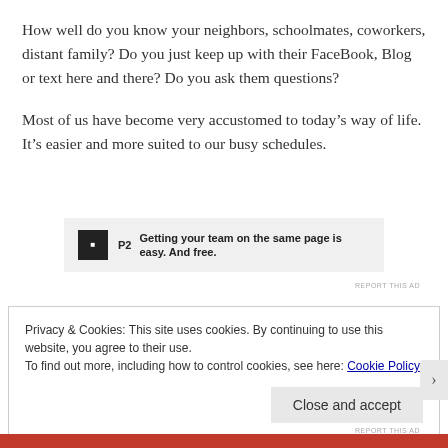How well do you know your neighbors, schoolmates, coworkers, distant family? Do you just keep up with their FaceBook, Blog or text here and there? Do you ask them questions?
Most of us have become very accustomed to today’s way of life. It’s easier and more suited to our busy schedules.
[Figure (other): P2 advertisement banner: logo with P2 text, and tagline 'Getting your team on the same page is easy. And free.']
REPORT THIS AD
Privacy & Cookies: This site uses cookies. By continuing to use this website, you agree to their use.
To find out more, including how to control cookies, see here: Cookie Policy
Close and accept